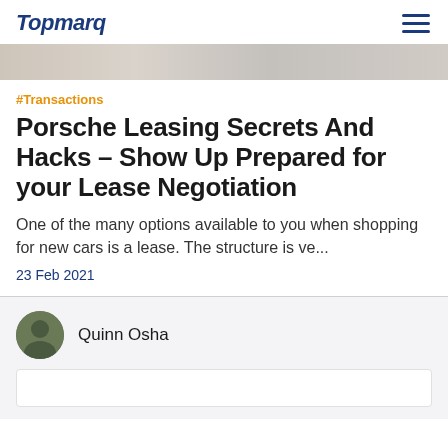Topmarq
[Figure (photo): Partial view of a car-related image, cropped at the top of the article card]
#Transactions
Porsche Leasing Secrets And Hacks - Show Up Prepared for your Lease Negotiation
One of the many options available to you when shopping for new cars is a lease. The structure is ve...
23 Feb 2021
Quinn Osha